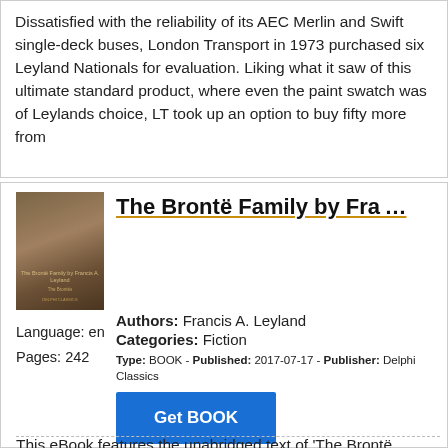Dissatisfied with the reliability of its AEC Merlin and Swift single-deck buses, London Transport in 1973 purchased six Leyland Nationals for evaluation. Liking what it saw of this ultimate standard product, where even the paint swatch was of Leylands choice, LT took up an option to buy fifty more from
[Figure (illustration): Book cover of 'The Brontë Family by Francis A. Leyland' showing a vintage portrait illustration with dark tones]
The Brontë Family by Fra…
Authors: Francis A. Leyland
Categories: Fiction
Type: BOOK - Published: 2017-07-17 - Publisher: Delphi Classics
Language: en
Pages: 242
Get BOOK
This eBook features the unabridged text of 'The Brontë Family by Fra…